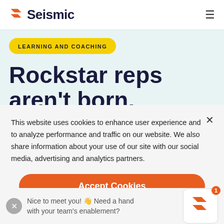Seismic
LEARNING AND COACHING
Rockstar reps aren't born.
This website uses cookies to enhance user experience and to analyze performance and traffic on our website. We also share information about your use of our site with our social media, advertising and analytics partners.
Accept Cookies
Cookie Preferences
Nice to meet you! 👋 Need a hand with your team's enablement?